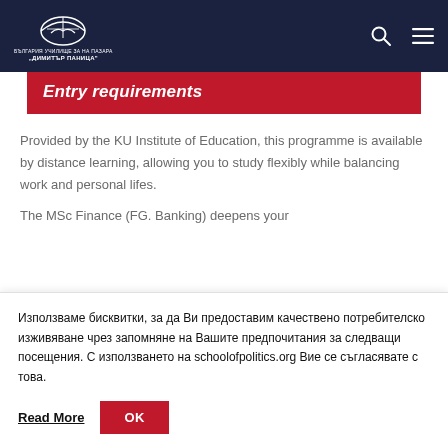Димитър Паница - navigation header with logo, search icon, and menu icon
Entry requirements
Provided by the KU Institute of Education, this programme is available by distance learning, allowing you to study flexibly while balancing work and personal lifes.
The MSc Finance (FG. Banking) deepens your
Използваме бисквитки, за да Ви предоставим качествено потребителско изживяване чрез запомняне на Вашите предпочитания за следващи посещения. С използването на schoolofpolitics.org Вие се съгласявате с това.
Read More
OK